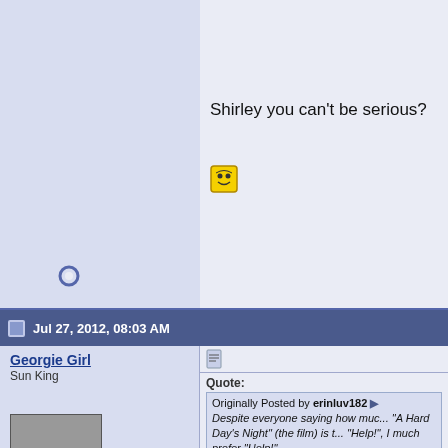on "Act Naturally"
Shirley you can't be serious?
Jul 27, 2012, 08:03 AM
Georgie Girl
Sun King
[Figure (photo): Black and white photo of a person playing guitar]
Join Date: May 31, 2005
Location: Sinkhole, Texas
Posts: 17,132
* BeatleLinks Donor *
Quote:
Originally Posted by erinluv182
Despite everyone saying how much "A Hard Day's Night" (the film) is to "Help!", I much prefer "Help!".
Me, too, Erin.
[Figure (photo): Photo of The Beatles]